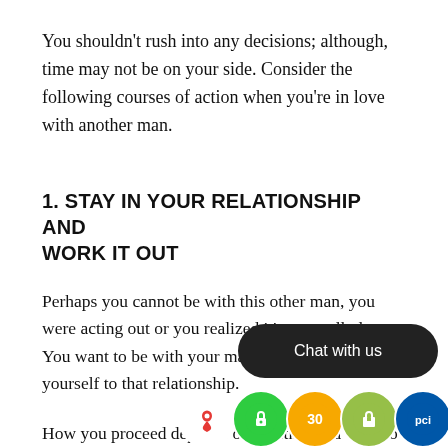You shouldn't rush into any decisions; although, time may not be on your side. Consider the following courses of action when you're in love with another man.
1. STAY IN YOUR RELATIONSHIP AND WORK IT OUT
Perhaps you cannot be with this other man, you were acting out or you realized it's not really love. You want to be with your man and re-commit yourself to that relationship.
How you proceed depends on whether you want to tell your man that you developed feelings for someone else and potentially acted on them. If you were just in love with another man but didn't act on it, you might be able to keep this to yourself and afford this man a new start.